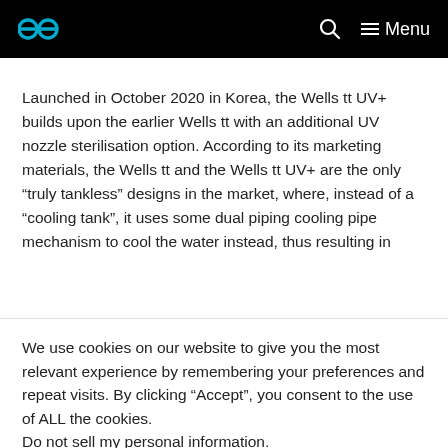ee | Menu
Launched in October 2020 in Korea, the Wells tt UV+ builds upon the earlier Wells tt with an additional UV nozzle sterilisation option. According to its marketing materials, the Wells tt and the Wells tt UV+ are the only “truly tankless” designs in the market, where, instead of a “cooling tank”, it uses some dual piping cooling pipe mechanism to cool the water instead, thus resulting in
We use cookies on our website to give you the most relevant experience by remembering your preferences and repeat visits. By clicking “Accept”, you consent to the use of ALL the cookies.
Do not sell my personal information.